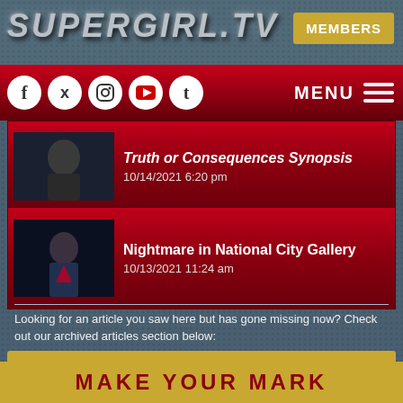SUPERGIRL.TV
MEMBERS
[Figure (screenshot): Navigation bar with social media icons (Facebook, Twitter, Instagram, YouTube, Tumblr) and MENU button]
Truth or Consequences Synopsis — 10/14/2021 6:20 pm
Nightmare in National City Gallery — 10/13/2021 11:24 am
Looking for an article you saw here but has gone missing now? Check out our archived articles section below:
ARCHIVED ARTICLES
MAKE YOUR MARK